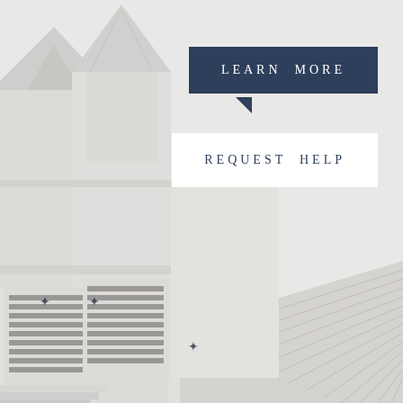[Figure (photo): White church steeple/tower with arched louvered windows, metal roof with standing seam panels, photographed from a low angle against a light gray/white sky. The building is all white with architectural details including decorative trim.]
LEARN MORE
REQUEST HELP